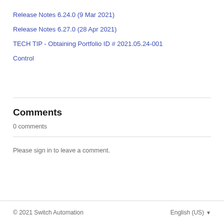Release Notes 6.24.0 (9 Mar 2021)
Release Notes 6.27.0 (28 Apr 2021)
TECH TIP - Obtaining Portfolio ID # 2021.05.24-001
Control
Comments
0 comments
Please sign in to leave a comment.
© 2021 Switch Automation    English (US)